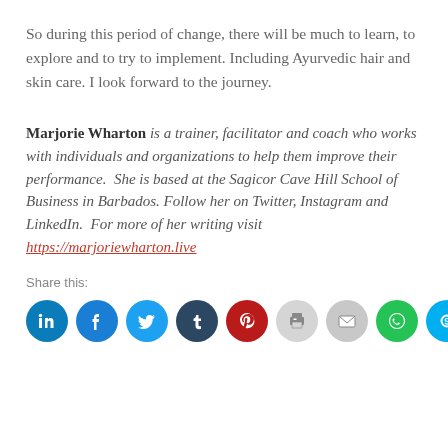So during this period of change, there will be much to learn, to explore and to try to implement. Including Ayurvedic hair and skin care. I look forward to the journey.
Marjorie Wharton is a trainer, facilitator and coach who works with individuals and organizations to help them improve their performance.  She is based at the Sagicor Cave Hill School of Business in Barbados. Follow her on Twitter, Instagram and LinkedIn.  For more of her writing visit https://marjoriewharton.live
Share this:
[Figure (infographic): Row of 9 social sharing icon buttons: LinkedIn (blue), Facebook (blue), Twitter (light blue), Tumblr (dark navy), Pinterest (red), Print (light gray), Email (gray), WhatsApp (green), Skype (sky blue)]